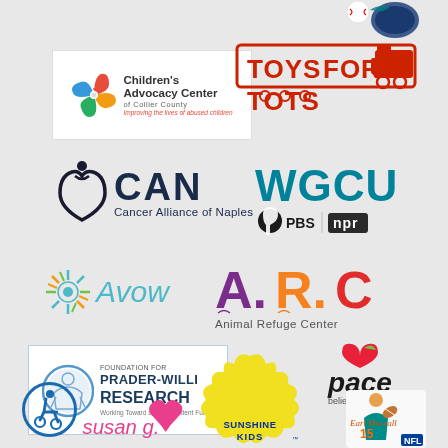[Figure (logo): Sports team logo (baseball) - partial, top right corner]
[Figure (logo): Children's Advocacy Center of Collier County logo - colorful pinwheel with text 'Improving the lives of abused children']
[Figure (logo): Toys for Tots logo - red train with 'TOYS FOR TOTS' text]
[Figure (logo): CAN Cancer Alliance of Naples logo - heart shape with 'CAN' text]
[Figure (logo): WGCU PBS NPR logo]
[Figure (logo): Avow logo - starburst/sun shape with teal text]
[Figure (logo): ARC Animal Refuge Center logo - colorful letters A, R, C]
[Figure (logo): Foundation for Prader-Willi Research logo]
[Figure (logo): Sunshine Kids logo - yellow star shape]
[Figure (logo): Pace believing in girls logo]
[Figure (logo): Wheelchair accessibility icon]
[Figure (logo): Susan G. Komen logo]
[Figure (logo): Earl Morrall NFL logo]